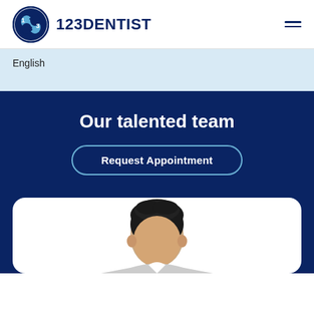123DENTIST
English
Our talented team
Request Appointment
[Figure (photo): Headshot photo of a person with dark hair on a white card background, partially cropped]